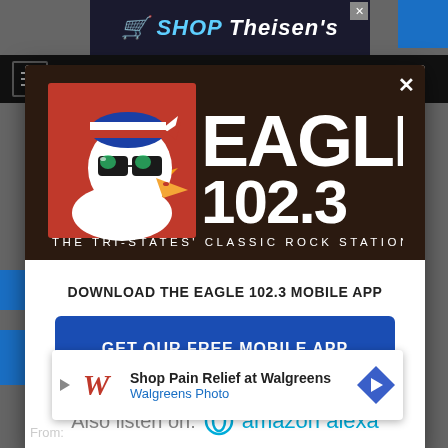[Figure (screenshot): Background webpage showing partially visible navigation and content]
[Figure (logo): Eagle 102.3 The Tri-States' Classic Rock Station radio station logo with bald eagle wearing sunglasses and American flag bandana on dark brown background]
DOWNLOAD THE EAGLE 102.3 MOBILE APP
GET OUR FREE MOBILE APP
Also listen on: amazon alexa
[Figure (infographic): Walgreens advertisement: Shop Pain Relief at Walgreens, Walgreens Photo]
From: